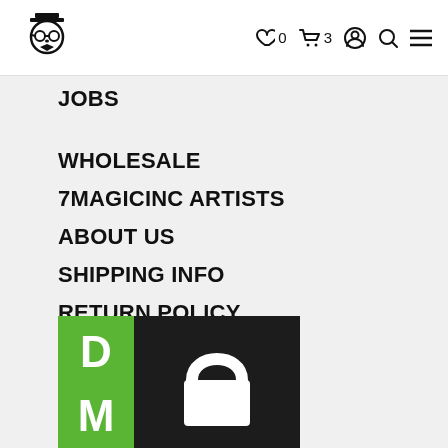Logo | ♡ 0  🛒 3  👤  🔍  ≡
JOBS
WHOLESALE
7MAGICINC ARTISTS
ABOUT US
SHIPPING INFO
RETURN POLICY
CONTACT US
[Figure (logo): DM badge logo with green left panel showing letters D and M, dark right panel with white padlock/shopping bag icon]